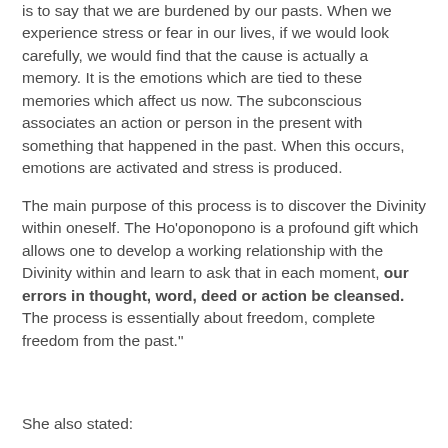is to say that we are burdened by our pasts. When we experience stress or fear in our lives, if we would look carefully, we would find that the cause is actually a memory. It is the emotions which are tied to these memories which affect us now. The subconscious associates an action or person in the present with something that happened in the past. When this occurs, emotions are activated and stress is produced.
The main purpose of this process is to discover the Divinity within oneself. The Ho'oponopono is a profound gift which allows one to develop a working relationship with the Divinity within and learn to ask that in each moment, our errors in thought, word, deed or action be cleansed. The process is essentially about freedom, complete freedom from the past."
She also stated: